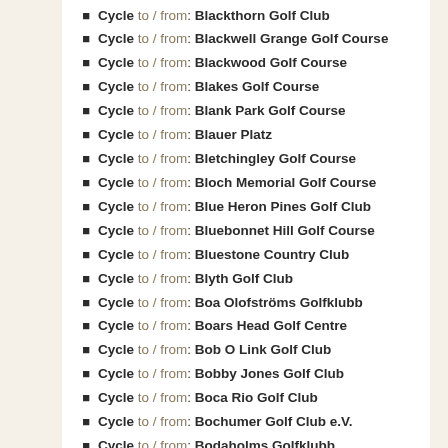Cycle to / from: Blackthorn Golf Club
Cycle to / from: Blackwell Grange Golf Course
Cycle to / from: Blackwood Golf Course
Cycle to / from: Blakes Golf Course
Cycle to / from: Blank Park Golf Course
Cycle to / from: Blauer Platz
Cycle to / from: Bletchingley Golf Course
Cycle to / from: Bloch Memorial Golf Course
Cycle to / from: Blue Heron Pines Golf Club
Cycle to / from: Bluebonnet Hill Golf Course
Cycle to / from: Bluestone Country Club
Cycle to / from: Blyth Golf Club
Cycle to / from: Boa Olofströms Golfklubb
Cycle to / from: Boars Head Golf Centre
Cycle to / from: Bob O Link Golf Club
Cycle to / from: Bobby Jones Golf Club
Cycle to / from: Boca Rio Golf Club
Cycle to / from: Bochumer Golf Club e.V.
Cycle to / from: Bodaholms Golfklubb
Cycle to / from: Bognor Regis Golf Club
Cycle to / from: Bökars Golf